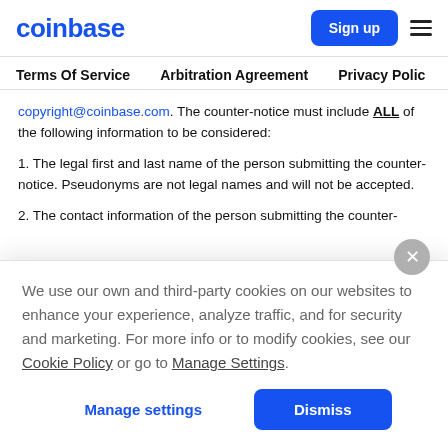coinbase | Sign up | ☰
Terms Of Service | Arbitration Agreement | Privacy Policy
copyright@coinbase.com. The counter-notice must include ALL of the following information to be considered:
1. The legal first and last name of the person submitting the counter-notice. Pseudonyms are not legal names and will not be accepted.
2. The contact information of the person submitting the counter-
We use our own and third-party cookies on our websites to enhance your experience, analyze traffic, and for security and marketing. For more info or to modify cookies, see our Cookie Policy or go to Manage Settings.
Manage settings | Dismiss